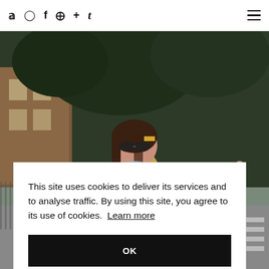Twitter Instagram Facebook Pinterest + Tumblr [hamburger menu]
[Figure (photo): Street photo of a woman wearing sunglasses, a beige trench coat, blue top, and orange skirt, standing on a city street with trees and brick buildings in the background.]
This site uses cookies to deliver its services and to analyse traffic. By using this site, you agree to its use of cookies. Learn more
OK